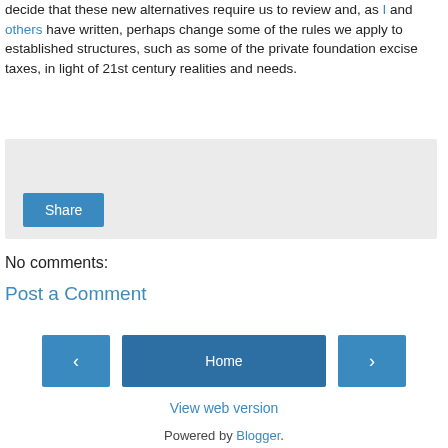for giving call for new and additional rules. And we may also decide that these new alternatives require us to review and, as I and others have written, perhaps change some of the rules we apply to established structures, such as some of the private foundation excise taxes, in light of 21st century realities and needs.
[Figure (other): Light grey share box with a blue Share button in bottom-left corner]
No comments:
Post a Comment
[Figure (other): Navigation row with left arrow button, Home button, and right arrow button]
View web version
Powered by Blogger.